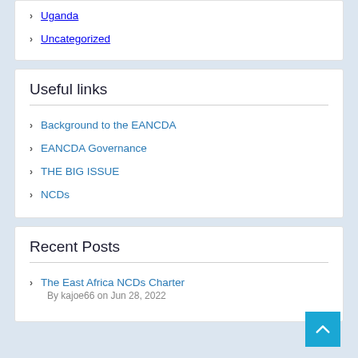Uganda
Uncategorized
Useful links
Background to the EANCDA
EANCDA Governance
THE BIG ISSUE
NCDs
Recent Posts
The East Africa NCDs Charter
By kajoe66 on Jun 28, 2022